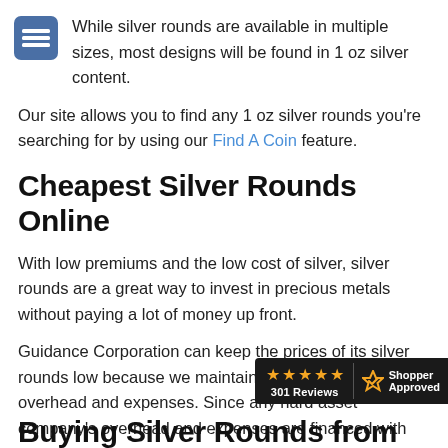[Figure (other): Menu icon with three horizontal lines on blue/navy rounded square background]
While silver rounds are available in multiple sizes, most designs will be found in 1 oz silver content.
Our site allows you to find any 1 oz silver rounds you're searching for by using our Find A Coin feature.
Cheapest Silver Rounds Online
With low premiums and the low cost of silver, silver rounds are a great way to invest in precious metals without paying a lot of money up front.
Guidance Corporation can keep the prices of its silver rounds low because we maintain low company overhead and expenses. Since any hard asset company's overhead and expenses are financed with your hard-earned dollars, our low costs result in both better buying and selling prices for you.
[Figure (logo): Shopper Approved badge with 4.5 stars and 301 Reviews]
Buying Silver Rounds from